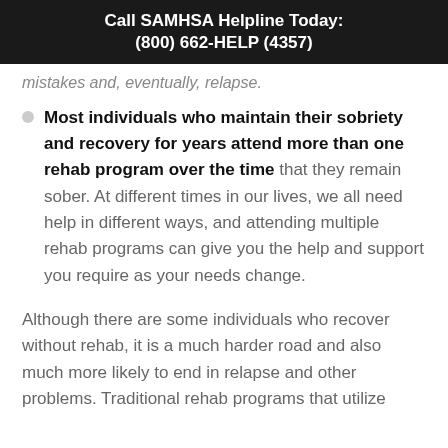Call SAMHSA Helpline Today:
(800) 662-HELP (4357)
mistakes and, eventually, relapse.
Most individuals who maintain their sobriety and recovery for years attend more than one rehab program over the time that they remain sober. At different times in our lives, we all need help in different ways, and attending multiple rehab programs can give you the help and support you require as your needs change.
Although there are some individuals who recover without rehab, it is a much harder road and also much more likely to end in relapse and other problems. Traditional rehab programs that utilize